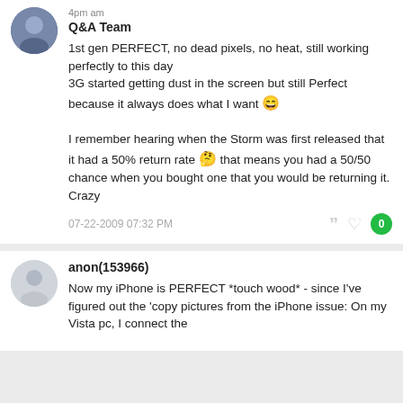Q&A Team
1st gen PERFECT, no dead pixels, no heat, still working perfectly to this day
3G started getting dust in the screen but still Perfect because it always does what I want 😊

I remember hearing when the Storm was first released that it had a 50% return rate 🤔 that means you had a 50/50 chance when you bought one that you would be returning it. Crazy
07-22-2009 07:32 PM
anon(153966)
Now my iPhone is PERFECT *touch wood* - since I've figured out the 'copy pictures from the iPhone issue: On my Vista pc, I connect the